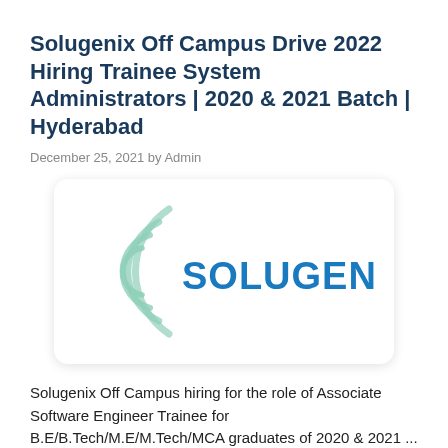Solugenix Off Campus Drive 2022 Hiring Trainee System Administrators | 2020 & 2021 Batch | Hyderabad
December 25, 2021 by Admin
[Figure (logo): Solugenix company logo — bold blue text 'SOLUGENIX' with green concentric arc/swoosh design on white card background]
Solugenix Off Campus hiring for the role of Associate Software Engineer Trainee for B.E/B.Tech/M.E/M.Tech/MCA graduates of 2020 & 2021 ...